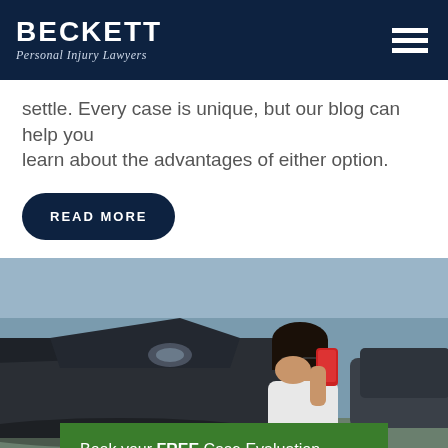BECKETT Personal Injury Lawyers
settle. Every case is unique, but our blog can help you learn about the advantages of either option.
READ MORE
[Figure (photo): Woman distressed at scene of car accident, holding red phone to her ear while covering her face, with damaged vehicle in background]
Book your FREE Case Evaluation >